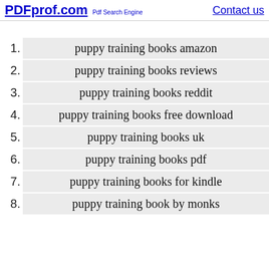PDFprof.com Pdf Search Engine    Contact us
1. puppy training books amazon
2. puppy training books reviews
3. puppy training books reddit
4. puppy training books free download
5. puppy training books uk
6. puppy training books pdf
7. puppy training books for kindle
8. puppy training book by monks